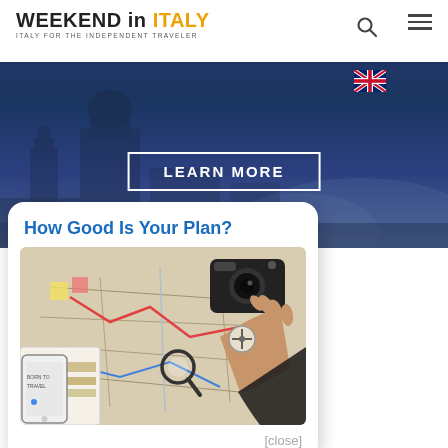WEEKEND in ITALY — ITALY FOR THE INDEPENDENT TRAVELER
[Figure (photo): Hero banner showing a blue-tinted aerial view of an Italian city (Florence), with a navigation bar above.]
LEARN MORE
[Figure (photo): UK flag icon used as a language selector.]
How Good Is Your Plan?
[Figure (photo): Overhead view of a person's hand on a travel map with a camera, magnifying glass, passport, and mobile phone around it.]
[close]